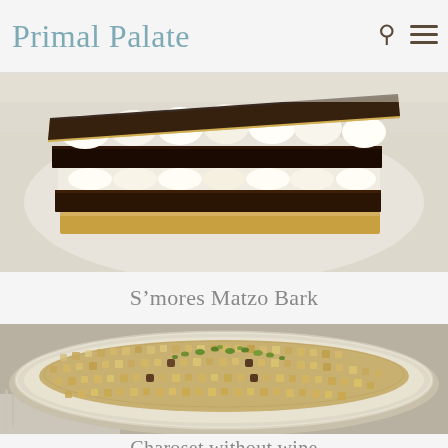Primal Palate
[Figure (photo): Close-up photo of stacked S'mores Matzo Bark showing layers of chocolate, marshmallow, and matzo, on a white plate]
S’mores Matzo Bark
[Figure (photo): Photo of Charoset without wine served on an oval white plate, showing diced apples, nuts and raisins garnished with green herbs]
Charoset without wine